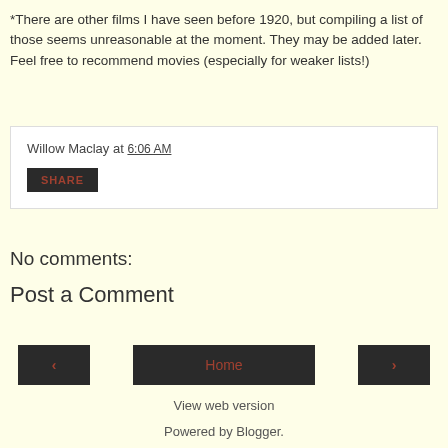*There are other films I have seen before 1920, but compiling a list of those seems unreasonable at the moment. They may be added later. Feel free to recommend movies (especially for weaker lists!)
Willow Maclay at 6:06 AM
SHARE
No comments:
Post a Comment
< Home >
View web version
Powered by Blogger.